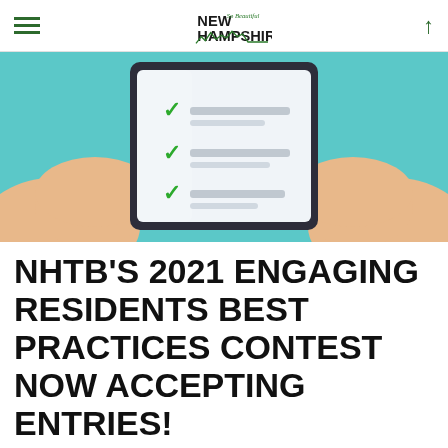New Hampshire The Beautiful - Navigation header
[Figure (illustration): Illustration of two hands holding a tablet/clipboard showing a checklist with three green checkmarks on a teal/light blue background]
NHTB'S 2021 ENGAGING RESIDENTS BEST PRACTICES CONTEST NOW ACCEPTING ENTRIES!